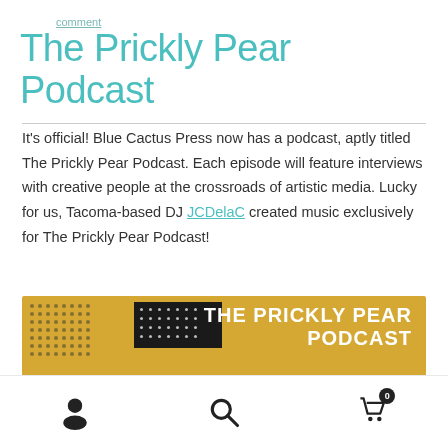comment
The Prickly Pear Podcast
It's official! Blue Cactus Press now has a podcast, aptly titled The Prickly Pear Podcast. Each episode will feature interviews with creative people at the crossroads of artistic media. Lucky for us, Tacoma-based DJ JCDelaC created music exclusively for The Prickly Pear Podcast!
[Figure (illustration): Yellow banner graphic for The Prickly Pear Podcast with dot patterns, black boxes, and white bold text reading THE PRICKLY PEAR PODCAST. Subtitle reads: interviews with creative people at the crossroads of artistic media.]
User icon, Search icon, Cart icon with badge 0